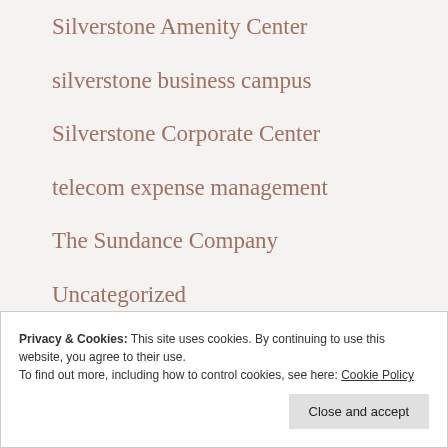Silverstone Amenity Center
silverstone business campus
Silverstone Corporate Center
telecom expense management
The Sundance Company
Uncategorized
wireless expense management
Privacy & Cookies: This site uses cookies. By continuing to use this website, you agree to their use.
To find out more, including how to control cookies, see here: Cookie Policy
Close and accept